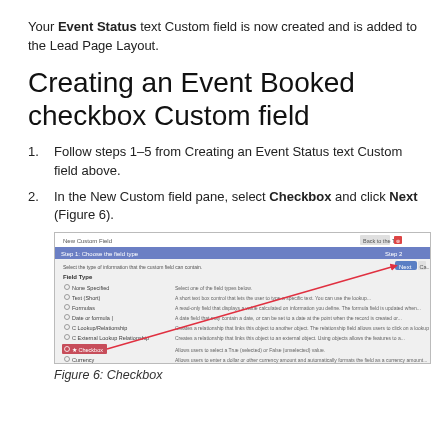Your Event Status text Custom field is now created and is added to the Lead Page Layout.
Creating an Event Booked checkbox Custom field
Follow steps 1–5 from Creating an Event Status text Custom field above.
In the New Custom field pane, select Checkbox and click Next (Figure 6).
[Figure (screenshot): Screenshot of New Custom Field dialog showing field type selection with Checkbox option highlighted and a red arrow pointing to the Next button.]
Figure 6: Checkbox